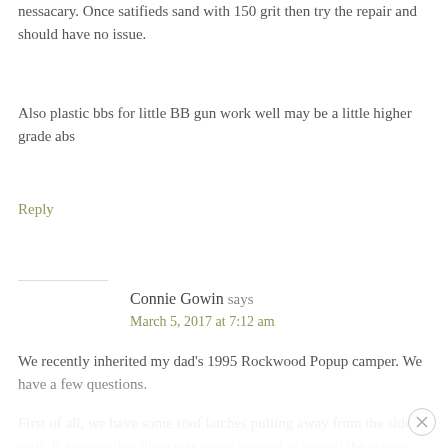nessacary. Once satifieds sand with 150 grit then try the repair and should have no issue.
Also plastic bbs for little BB gun work well may be a little higher grade abs
Reply
Connie Gowin says
March 5, 2017 at 7:12 am
We recently inherited my dad's 1995 Rockwood Popup camper. We have a few questions.
First of all, we have some roof latches pulling away from the side wall. It appears that there was water coming in behind the screws. Anyone have some